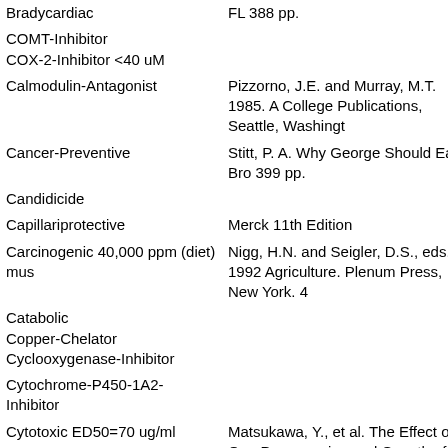| Activity | Reference |
| --- | --- |
| Bradycardiac | FL 388 pp. |
| COMT-Inhibitor |  |
| COX-2-Inhibitor <40 uM |  |
| Calmodulin-Antagonist | Pizzorno, J.E. and Murray, M.T. 1985. A College Publications, Seattle, Washingt... |
| Cancer-Preventive | Stitt, P. A. Why George Should Eat Bro... 399 pp. |
| Candidicide |  |
| Capillariprotective | Merck 11th Edition |
| Carcinogenic 40,000 ppm (diet) mus | Nigg, H.N. and Seigler, D.S., eds. 1992... Agriculture. Plenum Press, New York. 4... |
| Catabolic |  |
| Copper-Chelator |  |
| Cyclooxygenase-Inhibitor |  |
| Cytochrome-P450-1A2-Inhibitor |  |
| Cytotoxic ED50=70 ug/ml | Matsukawa, Y., et al. The Effect of Que... Progresssion and Growth of Human Ga... 1990. |
| Cytotoxic IC82=100 ug/ml | Planta Medica, 57: A113, 1991. |
| Deiodinase-Inhibitor | Jim Duke's personal files. |
| Diaphoretic? | Lawrence Review of Natural Products... |